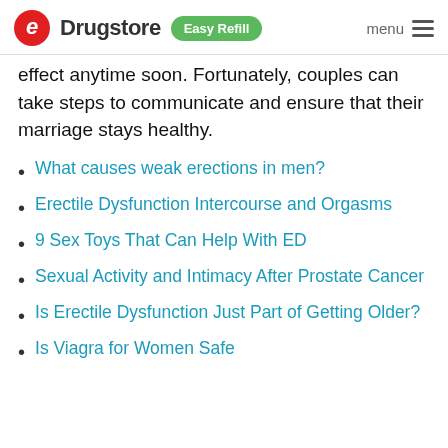eDrugstore  Easy Refill  menu
effect anytime soon. Fortunately, couples can take steps to communicate and ensure that their marriage stays healthy.
What causes weak erections in men?
Erectile Dysfunction Intercourse and Orgasms
9 Sex Toys That Can Help With ED
Sexual Activity and Intimacy After Prostate Cancer
Is Erectile Dysfunction Just Part of Getting Older?
Is Viagra for Women Safe